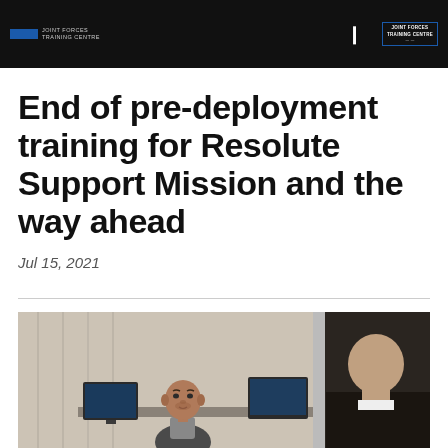Joint Forces Training Centre
End of pre-deployment training for Resolute Support Mission and the way ahead
Jul 15, 2021
[Figure (photo): Two men in a meeting room setting, one bald man seated facing camera, another man seen from behind on the right side]